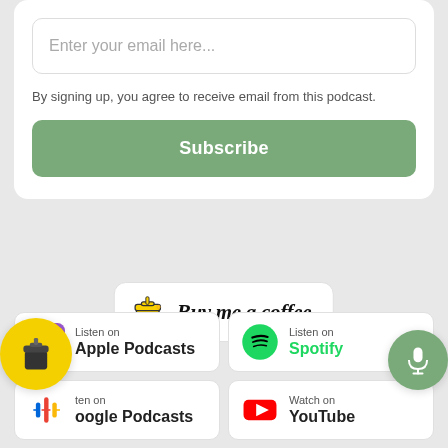Enter your email here...
By signing up, you agree to receive email from this podcast.
Subscribe
[Figure (logo): Buy me a coffee button with coffee cup icon and cursive text]
[Figure (logo): Listen on Apple Podcasts badge with purple podcast icon]
[Figure (logo): Listen on Spotify badge with green Spotify logo]
[Figure (logo): Listen on Google Podcasts badge (partially obscured by yellow coffee cup icon)]
[Figure (logo): Watch on YouTube badge with red YouTube play button icon]
[Figure (logo): Floating yellow circle with coffee cup icon (Buy Me a Coffee)]
[Figure (logo): Floating green circle with microphone icon]